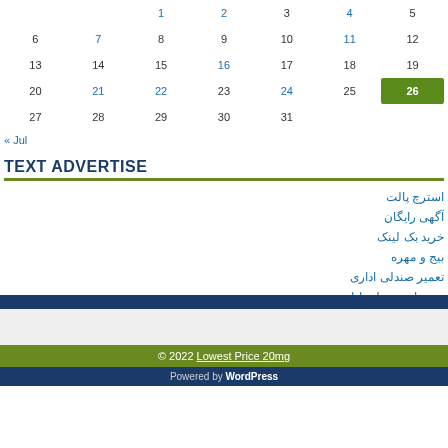| S | S | M | T | W | T | F |
| --- | --- | --- | --- | --- | --- | --- |
|  |  | 1 | 2 | 3 | 4 | 5 |
| 6 | 7 | 8 | 9 | 10 | 11 | 12 |
| 13 | 14 | 15 | 16 | 17 | 18 | 19 |
| 20 | 21 | 22 | 23 | 24 | 25 | 26 |
| 27 | 28 | 29 | 30 | 31 |  |  |
« Jul
TEXT ADVERTISE
استرچ پالت
آگهی رایگان
خرید بک لینک
بیج و مهره
تعمیر صندلی اداری
تعمیرات صندلی اداری
© 2022 Lowest Price 20mg
Powered by WordPress